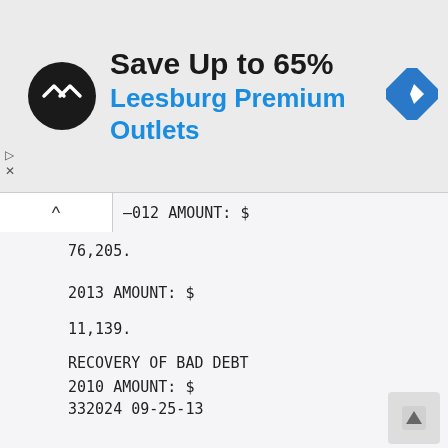[Figure (logo): Advertisement banner for Leesburg Premium Outlets showing logo, 'Save Up to 65%' text, outlet name in blue, and navigation icon]
2012 AMOUNT: $
76,205.
2013 AMOUNT: $
11,139.
RECOVERY OF BAD DEBT
2010 AMOUNT: $
332024 09-25-13
19071112 733030 REC
2,463.